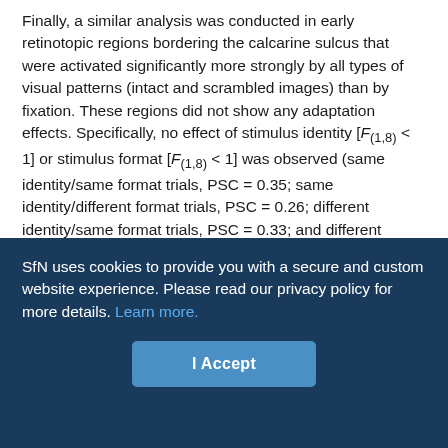Finally, a similar analysis was conducted in early retinotopic regions bordering the calcarine sulcus that were activated significantly more strongly by all types of visual patterns (intact and scrambled images) than by fixation. These regions did not show any adaptation effects. Specifically, no effect of stimulus identity [F(1,8) < 1] or stimulus format [F(1,8) < 1] was observed (same identity/same format trials, PSC = 0.35; same identity/different format trials, PSC = 0.26; different identity/same format trials, PSC = 0.33; and different identity/different format trials, PSC = 0.34). These results suggest that the adaptation observed for the same objects in the LOC does not arise in early retinotopic cortex.

Taken together, the results of this experiment show decreased activation within LOC regions when the same object is repeated
SfN uses cookies to provide you with a secure and custom website experience. Please read our privacy policy for more details. Learn more.